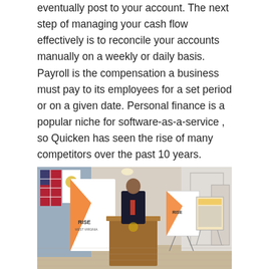eventually post to your account. The next step of managing your cash flow effectively is to reconcile your accounts manually on a weekly or daily basis. Payroll is the compensation a business must pay to its employees for a set period or on a given date. Personal finance is a popular niche for software-as-a-service , so Quicken has seen the rise of many competitors over the past 10 years.
[Figure (photo): A person in a dark suit standing at a wooden podium during what appears to be a press conference or official event. Behind the podium is a large banner reading 'RISE West Virginia'. To the left are American flags and a state flag. To the right is another RISE West Virginia display board on an easel. The setting appears to be an official government building interior.]